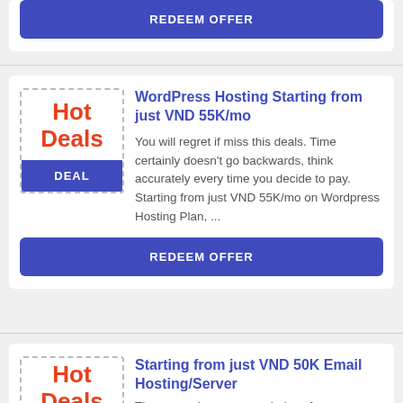REDEEM OFFER
[Figure (other): Hot Deals badge with dashed border and DEAL label]
WordPress Hosting Starting from just VND 55K/mo
You will regret if miss this deals. Time certainly doesn't go backwards, think accurately every time you decide to pay. Starting from just VND 55K/mo on Wordpress Hosting Plan, ...
REDEEM OFFER
[Figure (other): Hot Deals badge with dashed border (partial)]
Starting from just VND 50K Email Hosting/Server
There are always many choices for